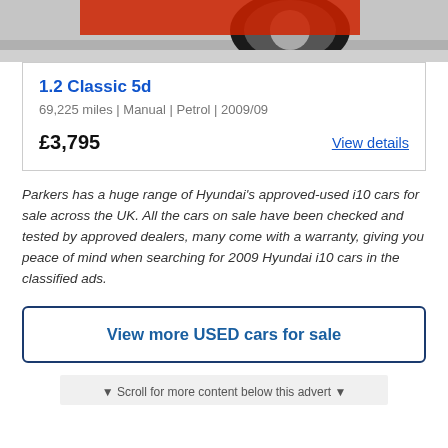[Figure (photo): Partial photo of a red car showing wheel/tyre on a concrete surface, cropped at top]
1.2 Classic 5d
69,225 miles | Manual | Petrol | 2009/09
£3,795
View details
Parkers has a huge range of Hyundai's approved-used i10 cars for sale across the UK. All the cars on sale have been checked and tested by approved dealers, many come with a warranty, giving you peace of mind when searching for 2009 Hyundai i10 cars in the classified ads.
View more USED cars for sale
▼ Scroll for more content below this advert ▼